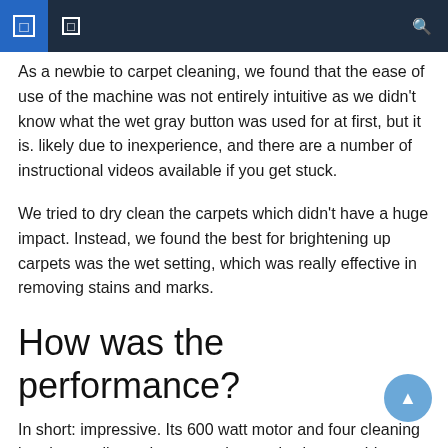As a newbie to carpet cleaning, we found that the ease of use of the machine was not entirely intuitive as we didn't know what the wet gray button was used for at first, but it is. likely due to inexperience, and there are a number of instructional videos available if you get stuck.
We tried to dry clean the carpets which didn't have a huge impact. Instead, we found the best for brightening up carpets was the wet setting, which was really effective in removing stains and marks.
How was the performance?
In short: impressive. Its 600 watt motor and four cleaning brushes really made sense when reviewing our old cream carpets.
The old...